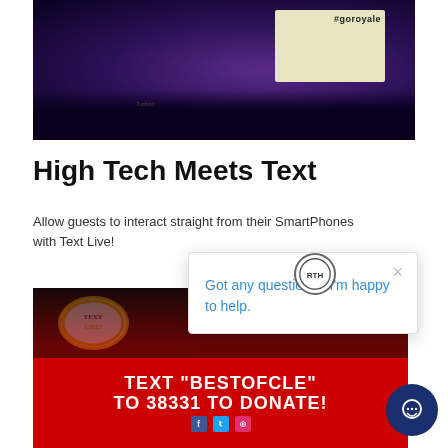[Figure (photo): Dark purple-lit event venue with crowd silhouettes, a screen showing '#goroyale', and a Labatt Blue Royale branded sign glowing in blue/gold.]
High Tech Meets Text
Allow guests to interact straight from their SmartPhones with Text Live!
[Figure (screenshot): Chat popup overlay with RTH logo, close button (×), and blue text: 'Got any questions? I'm happy to help.' Floating dark navy chat button in bottom-right corner.]
[Figure (photo): Event stage photo showing red banner with text 'TEXT "BESTOFCLE" TO 38331 TO DONATE!' with social media icons, a performer on stage, and comic-style speech bubble graphic.]